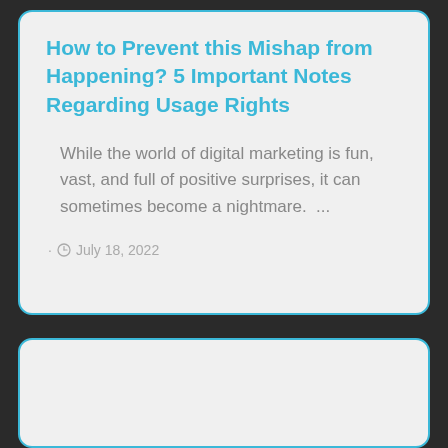How to Prevent this Mishap from Happening? 5 Important Notes Regarding Usage Rights
While the world of digital marketing is fun, vast, and full of positive surprises, it can sometimes become a nightmare.  ...
· July 18, 2022